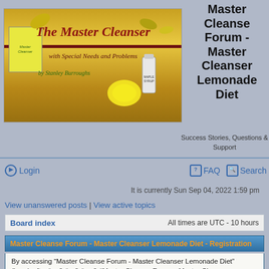[Figure (illustration): The Master Cleanser book banner with title 'The Master Cleanser', subtitle 'with Special Needs and Problems', author 'by Stanley Burroughs', decorative leaves, lemon, and health product bottles on golden yellow background]
Master Cleanse Forum - Master Cleanser Lemonade Diet
Success Stories, Questions & Support
Login
FAQ
Search
It is currently Sun Sep 04, 2022 1:59 pm
View unanswered posts | View active topics
Board index    All times are UTC - 10 hours
Master Cleanse Forum - Master Cleanser Lemonade Diet - Registration
By accessing “Master Cleanse Forum - Master Cleanser Lemonade Diet” (hereinafter “we”, “us”, “our”, “Master Cleanse Forum - Master Cleanser Lemonade Diet”, “http://www.mastercleanser.com/forum”), you agree to be legally bound by the following terms. If you do not agree to be legally bound by all of the following terms then please do